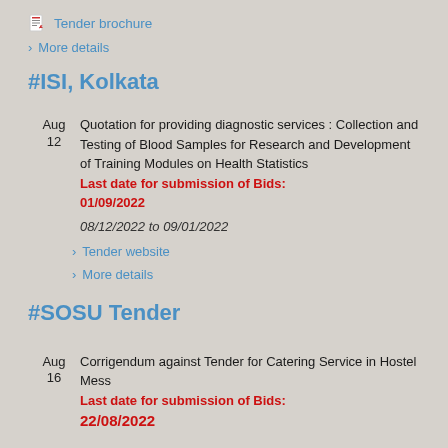Tender brochure
> More details
#ISI, Kolkata
Quotation for providing diagnostic services : Collection and Testing of Blood Samples for Research and Development of Training Modules on Health Statistics
Last date for submission of Bids: 01/09/2022
08/12/2022 to 09/01/2022
> Tender website
> More details
#SOSU Tender
Corrigendum against Tender for Catering Service in Hostel Mess
Last date for submission of Bids: 22/08/2022